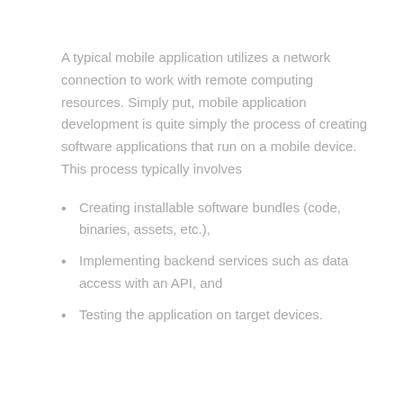A typical mobile application utilizes a network connection to work with remote computing resources. Simply put, mobile application development is quite simply the process of creating software applications that run on a mobile device. This process typically involves
Creating installable software bundles (code, binaries, assets, etc.),
Implementing backend services such as data access with an API, and
Testing the application on target devices.